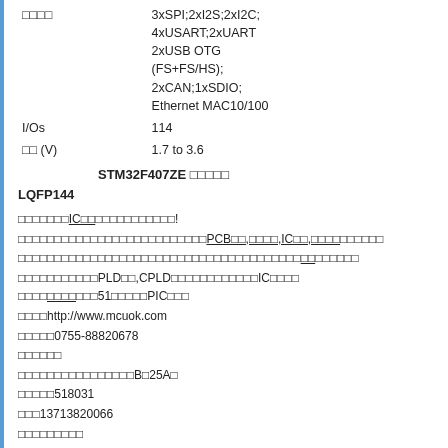| □□□□ | 3xSPI;2xI2S;2xI2C;
4xUSART;2xUART
2xUSB OTG
(FS+FS/HS);
2xCAN;1xSDIO;
Ethernet MAC10/100 |
| I/Os | 114 |
| □□ (V) | 1.7 to 3.6 |
STM32F407ZE □□□□□
LQFP144
□□□□□□□IC□□□□□□□□□□□□!
□□□□□□□□□□□□□□□□□□□□□□□□□□PCB□□,□□□□,IC□□,□□□□□□□□□□
□□□□□□□□□□□□□□□□□□□□□□□□□□□□□□□□□□□□□□□□□□□□□□□□
□□□□□□□□□□□PLD□□,CPLD□□□□□□□□□□□□IC□□□□ □□□□□□□□□□51□□□□□PIC□□□
□□□□http://www.mcuok.com
□□□□□0755-88820678
□□□□□□
□□□□□□□□□□□□□□□□B□25A□
□□□□□518031
□□□13713820066
□□□□□□□□□
QQ□498187676
□□□□□□□□□□□□□□□□□,□□□□□□□,□□□□□□□!